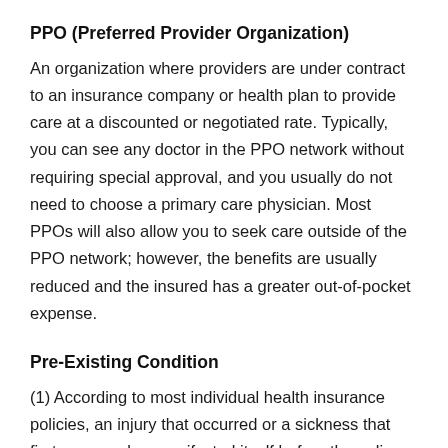PPO (Preferred Provider Organization)
An organization where providers are under contract to an insurance company or health plan to provide care at a discounted or negotiated rate. Typically, you can see any doctor in the PPO network without requiring special approval, and you usually do not need to choose a primary care physician. Most PPOs will also allow you to seek care outside of the PPO network; however, the benefits are usually reduced and the insured has a greater out-of-pocket expense.
Pre-Existing Condition
(1) According to most individual health insurance policies, an injury that occurred or a sickness that first appeared or manifested itself before the policy